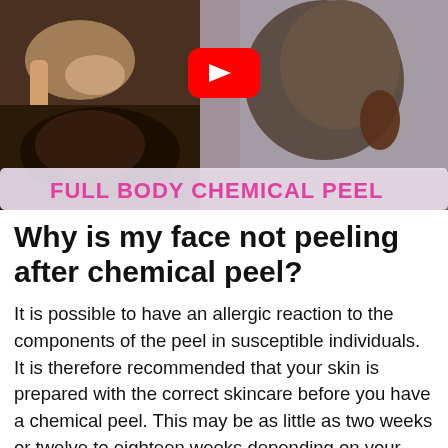[Figure (screenshot): YouTube video thumbnail showing a full body chemical peel video. Left side shows two stacked photos of skin treatments, right side shows a woman touching her face. Red YouTube play button in center. Banner at bottom reads 'FULL BODY CHEMICAL PEEL' in pink text.]
Why is my face not peeling after chemical peel?
It is possible to have an allergic reaction to the components of the peel in susceptible individuals. It is therefore recommended that your skin is prepared with the correct skincare before you have a chemical peel. This may be as little as two weeks or twelve to eighteen weeks depending on your risk factors.